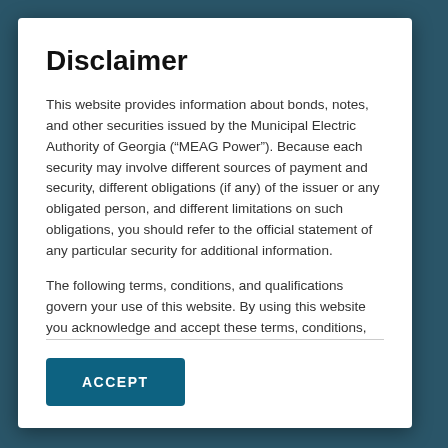Disclaimer
This website provides information about bonds, notes, and other securities issued by the Municipal Electric Authority of Georgia (“MEAG Power”). Because each security may involve different sources of payment and security, different obligations (if any) of the issuer or any obligated person, and different limitations on such obligations, you should refer to the official statement of any particular security for additional information.
The following terms, conditions, and qualifications govern your use of this website. By using this website you acknowledge and accept these terms, conditions, and
ACCEPT